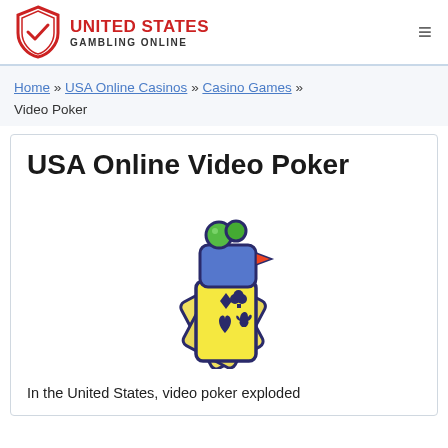UNITED STATES GAMBLING ONLINE
Home » USA Online Casinos » Casino Games » Video Poker
USA Online Video Poker
[Figure (illustration): Cartoon illustration of a video camera shaped like playing cards, with green lens bubbles on top, a blue camera body, red flag, and fan of yellow playing cards below showing card suit symbols (diamond, club, heart, spade)]
In the United States, video poker exploded